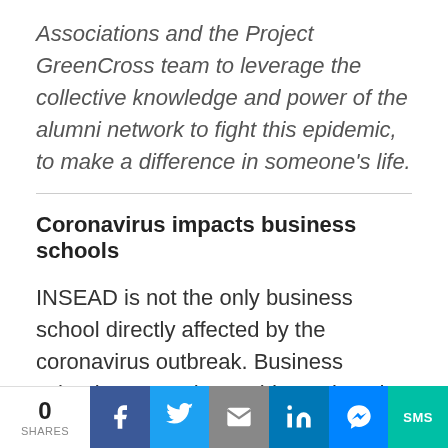Associations and the Project GreenCross team to leverage the collective knowledge and power of the alumni network to fight this epidemic, to make a difference in someone's life.
Coronavirus impacts business schools
INSEAD is not the only business school directly affected by the coronavirus outbreak. Business schools across the world are closed and moving learning online. GMAT test taking has also been disrupted
0 SHARES | Facebook | Twitter | Email | LinkedIn | Messenger | SMS